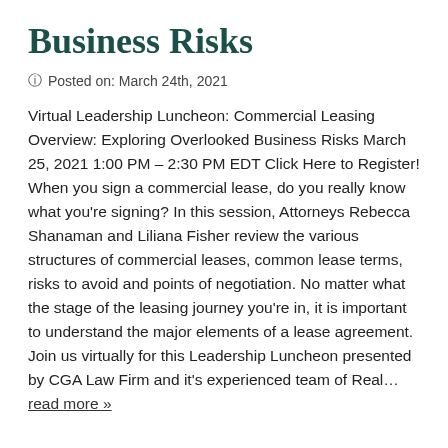Business Risks
Posted on: March 24th, 2021
Virtual Leadership Luncheon: Commercial Leasing Overview: Exploring Overlooked Business Risks March 25, 2021 1:00 PM – 2:30 PM EDT Click Here to Register! When you sign a commercial lease, do you really know what you're signing? In this session, Attorneys Rebecca Shanaman and Liliana Fisher review the various structures of commercial leases, common lease terms, risks to avoid and points of negotiation. No matter what the stage of the leasing journey you're in, it is important to understand the major elements of a lease agreement. Join us virtually for this Leadership Luncheon presented by CGA Law Firm and it's experienced team of Real… read more »